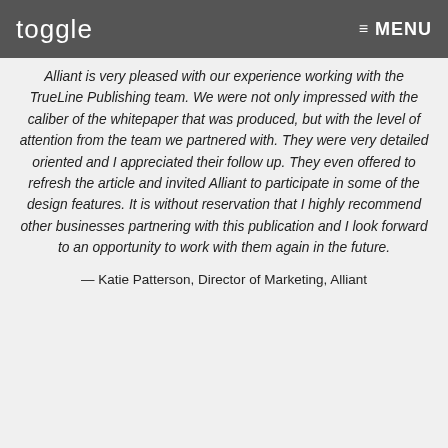toggle   ≡ MENU
Alliant is very pleased with our experience working with the TrueLine Publishing team. We were not only impressed with the caliber of the whitepaper that was produced, but with the level of attention from the team we partnered with. They were very detailed oriented and I appreciated their follow up. They even offered to refresh the article and invited Alliant to participate in some of the design features. It is without reservation that I highly recommend other businesses partnering with this publication and I look forward to an opportunity to work with them again in the future.
— Katie Patterson, Director of Marketing, Alliant